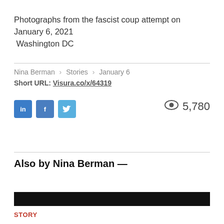Photographs from the fascist coup attempt on January 6, 2021 Washington DC
Nina Berman › Stories › January 6
Short URL: Visura.co/x/64319
[Figure (other): Social sharing buttons for LinkedIn, Facebook, Twitter and view count 5,780]
Also by Nina Berman —
[Figure (photo): Dark image strip thumbnail]
STORY